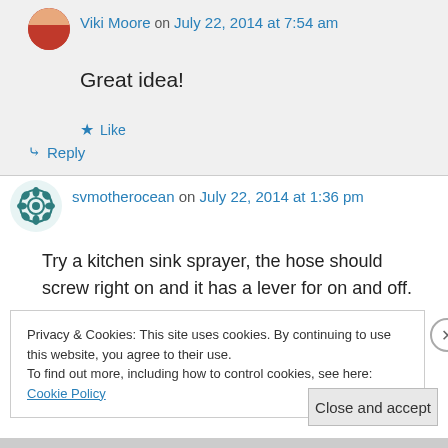Viki Moore on July 22, 2014 at 7:54 am
Great idea!
★ Like
↪ Reply
svmotherocean on July 22, 2014 at 1:36 pm
Try a kitchen sink sprayer, the hose should screw right on and it has a lever for on and off.
Privacy & Cookies: This site uses cookies. By continuing to use this website, you agree to their use.
To find out more, including how to control cookies, see here: Cookie Policy
Close and accept